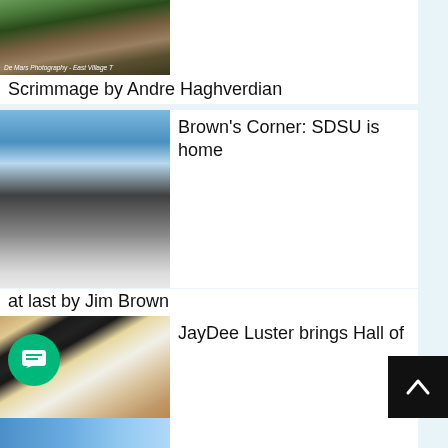[Figure (photo): Football scrimmage action photo with watermark 'De Mars Photography - East Village T']
Scrimmage by Andre Haghverdian
[Figure (photo): Exterior photo of SDSU stadium with blue sky]
Brown's Corner: SDSU is home at last by Jim Brown
[Figure (photo): Group photo of people at an event, including JayDee Luster]
JayDee Luster brings Hall of Fame credentials to SDSU by Paul Garrison
[Figure (photo): Partial photo at bottom of page]